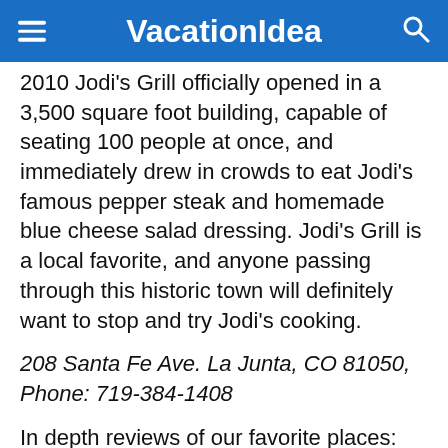VacationIdea
2010 Jodi’s Grill officially opened in a 3,500 square foot building, capable of seating 100 people at once, and immediately drew in crowds to eat Jodi’s famous pepper steak and homemade blue cheese salad dressing. Jodi’s Grill is a local favorite, and anyone passing through this historic town will definitely want to stop and try Jodi’s cooking.
208 Santa Fe Ave. La Junta, CO 81050, Phone: 719-384-1408
In depth reviews of our favorite places: Best